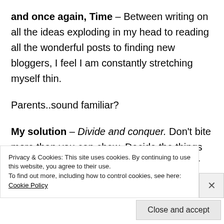and once again, Time – Between writing on all the ideas exploding in my head to reading all the wonderful posts to finding new bloggers, I feel I am constantly stretching myself thin.
Parents..sound familiar?
My solution – Divide and conquer. Don't bite more than you can chew. Decide the things most important to you and then divide your time accordingly. For me its simple – while
Privacy & Cookies: This site uses cookies. By continuing to use this website, you agree to their use.
To find out more, including how to control cookies, see here: Cookie Policy
Close and accept